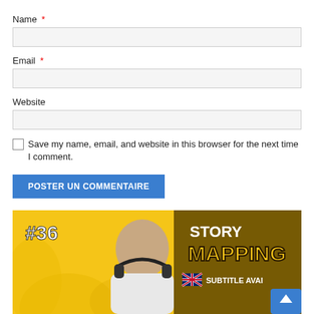Name *
Email *
Website
Save my name, email, and website in this browser for the next time I comment.
POSTER UN COMMENTAIRE
[Figure (photo): Thumbnail image showing a man with headphones on a yellow background with text '#36', 'STORY MAPPING', a UK flag icon and 'SUBTITLE AVAI...' text, plus a blue scroll-to-top button.]